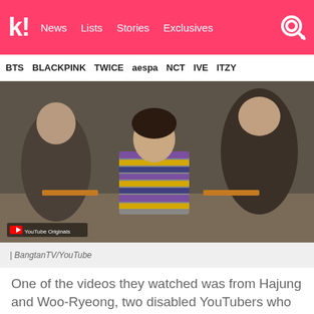k! | News | Lists | Stories | Exclusives
BTS | BLACKPINK | TWICE | aespa | NCT | IVE | ITZY
[Figure (photo): BTS members sitting, one wearing a striped colorful cardigan, YouTube Originals watermark visible]
| BangtanTV/YouTube
One of the videos they watched was from Hajung and Woo-Ryeong, two disabled YouTubers who are big fans of BTS.
[Figure (photo): Two people, Korean text overlay reading [팬들과의 만남 - 대한민국]]